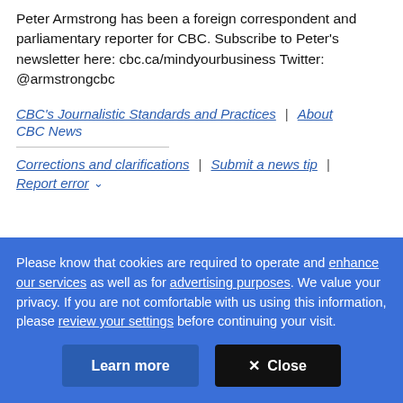Peter Armstrong has been a foreign correspondent and parliamentary reporter for CBC. Subscribe to Peter's newsletter here: cbc.ca/mindyourbusiness Twitter: @armstrongcbc
CBC's Journalistic Standards and Practices | About CBC News
Corrections and clarifications | Submit a news tip | Report error
Please know that cookies are required to operate and enhance our services as well as for advertising purposes. We value your privacy. If you are not comfortable with us using this information, please review your settings before continuing your visit.